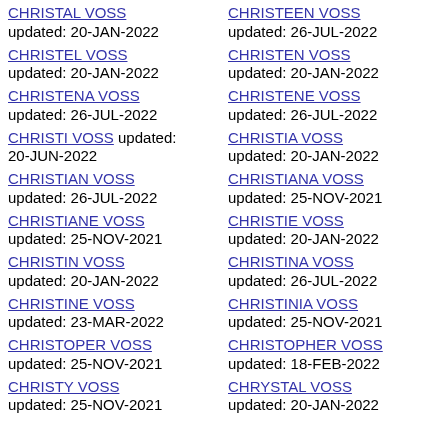CHRISTAL VOSS updated: 20-JAN-2022
CHRISTEL VOSS updated: 20-JAN-2022
CHRISTENA VOSS updated: 26-JUL-2022
CHRISTI VOSS updated: 20-JUN-2022
CHRISTIAN VOSS updated: 26-JUL-2022
CHRISTIANE VOSS updated: 25-NOV-2021
CHRISTIN VOSS updated: 20-JAN-2022
CHRISTINE VOSS updated: 23-MAR-2022
CHRISTOPER VOSS updated: 25-NOV-2021
CHRISTY VOSS updated: 25-NOV-2021
CHRISTEEN VOSS updated: 26-JUL-2022
CHRISTEN VOSS updated: 20-JAN-2022
CHRISTENE VOSS updated: 26-JUL-2022
CHRISTIA VOSS updated: 20-JAN-2022
CHRISTIANA VOSS updated: 25-NOV-2021
CHRISTIE VOSS updated: 20-JAN-2022
CHRISTINA VOSS updated: 26-JUL-2022
CHRISTINIA VOSS updated: 25-NOV-2021
CHRISTOPHER VOSS updated: 18-FEB-2022
CHRYSTAL VOSS updated: 20-JAN-2022